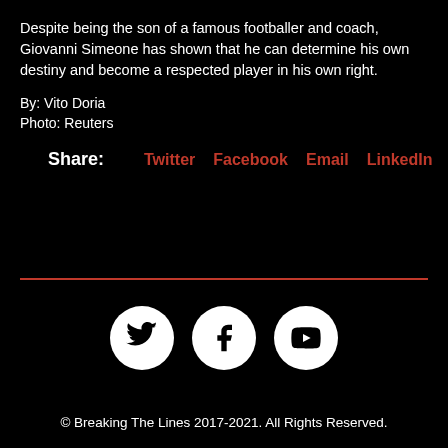Despite being the son of a famous footballer and coach, Giovanni Simeone has shown that he can determine his own destiny and become a respected player in his own right.
By: Vito Doria
Photo: Reuters
Share:  Twitter  Facebook  Email  LinkedIn
[Figure (illustration): Social media icon buttons: Twitter, Facebook, YouTube — white circles on black background]
© Breaking The Lines 2017-2021. All Rights Reserved.